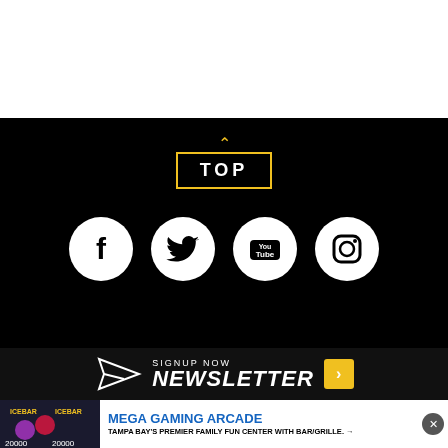[Figure (infographic): Black background section with a yellow-bordered TOP button with upward arrow, and four white social media icon circles: Facebook, Twitter, YouTube, Instagram]
SIGNUP NOW
NEWSLETTER
[Figure (infographic): Advertisement banner: Mega Gaming Arcade - Tampa Bay's Premier Family Fun Center with Bar/Grille]